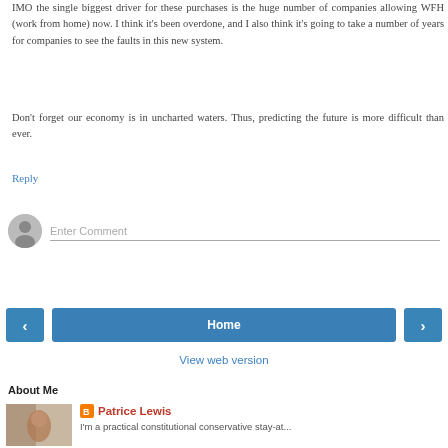IMO the single biggest driver for these purchases is the huge number of companies allowing WFH (work from home) now. I think it's been overdone, and I also think it's going to take a number of years for companies to see the faults in this new system.
Don't forget our economy is in uncharted waters. Thus, predicting the future is more difficult than ever.
Reply
[Figure (screenshot): Comment input field with avatar placeholder and 'Enter Comment' placeholder text]
[Figure (screenshot): Navigation bar with left arrow button, Home button, and right arrow button]
View web version
About Me
[Figure (photo): Profile photo of Patrice Lewis]
Patrice Lewis
I'm a practical constitutional conservative stay-at...